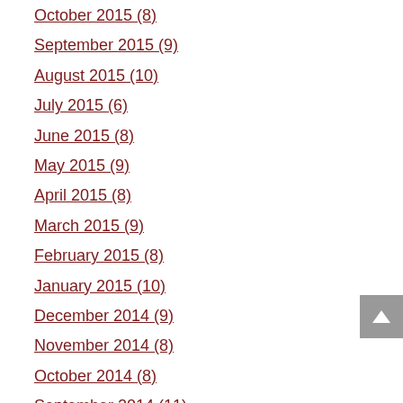October 2015 (8)
September 2015 (9)
August 2015 (10)
July 2015 (6)
June 2015 (8)
May 2015 (9)
April 2015 (8)
March 2015 (9)
February 2015 (8)
January 2015 (10)
December 2014 (9)
November 2014 (8)
October 2014 (8)
September 2014 (11)